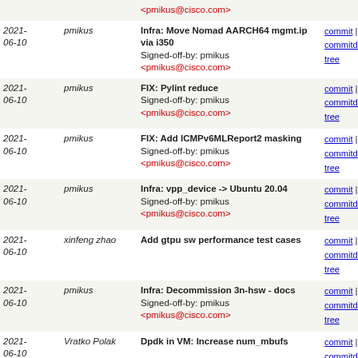| Date | Author | Commit | Links |
| --- | --- | --- | --- |
| 2021-06-10 | pmikus | Infra: Move Nomad AARCH64 mgmt.ip via i350
Signed-off-by: pmikus <pmikus@cisco.com> | commit | commitdiff | tree |
| 2021-06-10 | pmikus | FIX: Pylint reduce
Signed-off-by: pmikus <pmikus@cisco.com> | commit | commitdiff | tree |
| 2021-06-10 | pmikus | FIX: Add ICMPv6MLReport2 masking
Signed-off-by: pmikus <pmikus@cisco.com> | commit | commitdiff | tree |
| 2021-06-10 | pmikus | Infra: vpp_device -> Ubuntu 20.04
Signed-off-by: pmikus <pmikus@cisco.com> | commit | commitdiff | tree |
| 2021-06-10 | xinfeng zhao | Add gtpu sw performance test cases | commit | commitdiff | tree |
| 2021-06-10 | pmikus | Infra: Decommission 3n-hsw - docs
Signed-off-by: pmikus <pmikus@cisco.com> | commit | commitdiff | tree |
| 2021-06-10 | Vratko Polak | Dpdk in VM: Increase num_mbufs | commit | commitdiff | tree |
| 2021-06-09 | pmikus | FIX: spectre-meltdown calibration
Signed-off-by: pmikus <pmikus@cisco.com> | commit | commitdiff | tree |